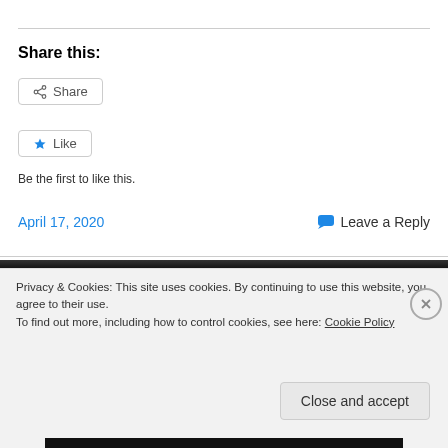Share this:
Share
Like
Be the first to like this.
April 17, 2020
Leave a Reply
Privacy & Cookies: This site uses cookies. By continuing to use this website, you agree to their use.
To find out more, including how to control cookies, see here: Cookie Policy
Close and accept